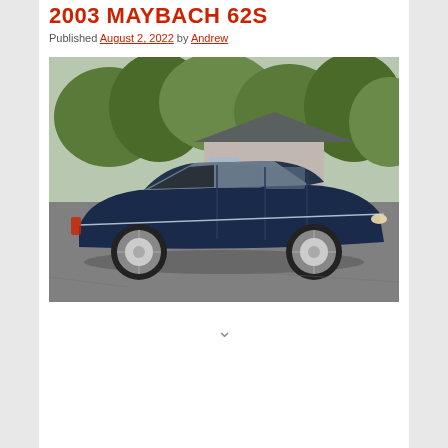2003 MAYBACH 62S
Published August 2, 2022 by Andrew
[Figure (photo): Side view of a dark blue 2003 Maybach 62S luxury sedan parked on a driveway in front of a house with trees in the background]
∨